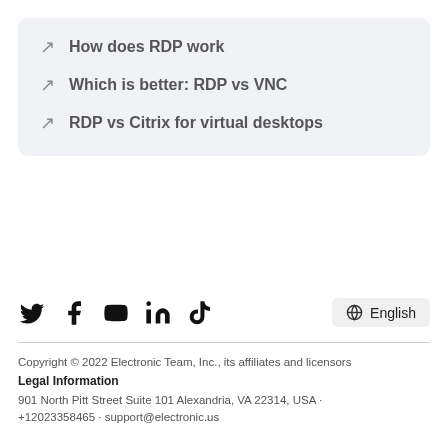How does RDP work
Which is better: RDP vs VNC
RDP vs Citrix for virtual desktops
[Figure (infographic): Social media icons: Twitter, Facebook, YouTube, LinkedIn, TikTok; and a language selector showing 'English' with globe icon]
Copyright © 2022 Electronic Team, Inc., its affiliates and licensors
Legal Information
901 North Pitt Street Suite 101 Alexandria, VA 22314, USA · +12023358465 · support@electronic.us